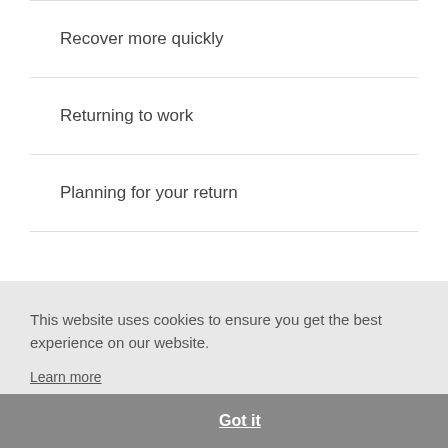Recover more quickly
Returning to work
Planning for your return
This website uses cookies to ensure you get the best experience on our website.
Learn more
Got it
After you get home